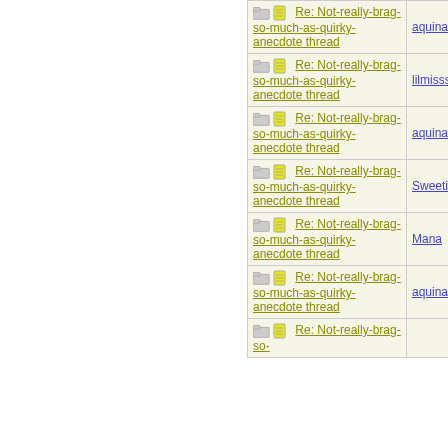| Thread | Author |
| --- | --- |
| Re: Not-really-brag-so-much-as-quirky-anecdote thread | aquinas |
| Re: Not-really-brag-so-much-as-quirky-anecdote thread | lilmisssun |
| Re: Not-really-brag-so-much-as-quirky-anecdote thread | aquinas |
| Re: Not-really-brag-so-much-as-quirky-anecdote thread | Sweetie |
| Re: Not-really-brag-so-much-as-quirky-anecdote thread | Mana |
| Re: Not-really-brag-so-much-as-quirky-anecdote thread | aquinas |
| Re: Not-really-brag-so-much-as-quirky-anecdote thread |  |